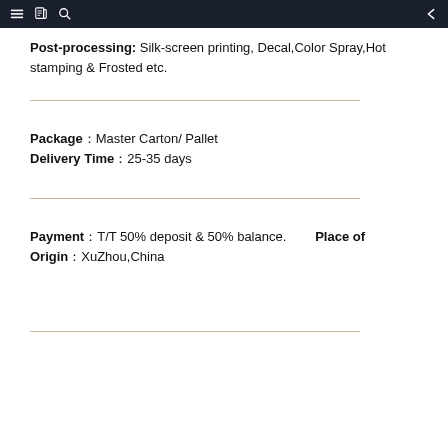navigation bar
Post-processing: Silk-screen printing, Decal,Color Spray,Hot stamping & Frosted etc.
Package：Master Carton/ Pallet
Delivery Time：25-35 days
Payment：T/T 50% deposit & 50% balance.    Place of Origin：XuZhou,China